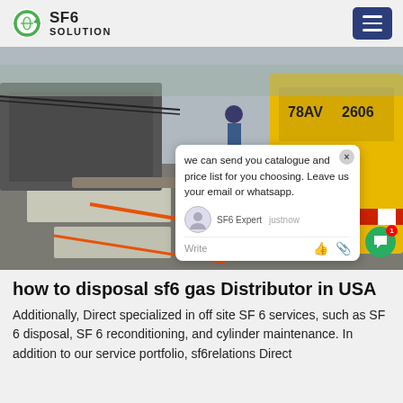SF6 SOLUTION
[Figure (photo): Outdoor industrial site showing SF6 gas equipment, pipes, and a yellow truck with markings '78AV 2606'. Workers visible in background. A chat popup overlay reads: 'we can send you catalogue and price list for you choosing. Leave us your email or whatsapp.' SF6 Expert justnow. Write.]
how to disposal sf6 gas Distributor in USA
Additionally, Direct specialized in off site SF 6 services, such as SF 6 disposal, SF 6 reconditioning, and cylinder maintenance. In addition to our service portfolio, sf6relations Direct